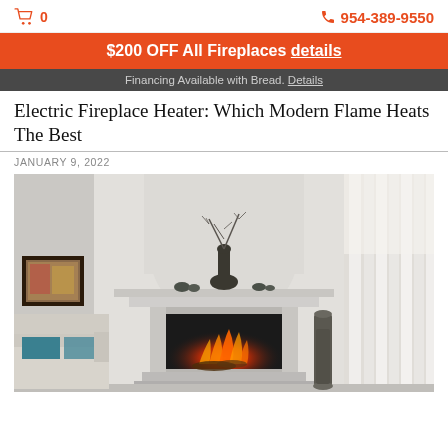🛒 0  📞 954-389-9550
$200 OFF All Fireplaces details
Financing Available with Bread. Details
Electric Fireplace Heater: Which Modern Flame Heats The Best
JANUARY 9, 2022
[Figure (photo): Living room interior with a white fireplace mantel topped with decorative vases and branches, a built-in electric fireplace insert with flame effect, a white sofa with teal cushions on the left, a tall dark floor vase on the right, artwork on the left wall, and white drapes on the right.]